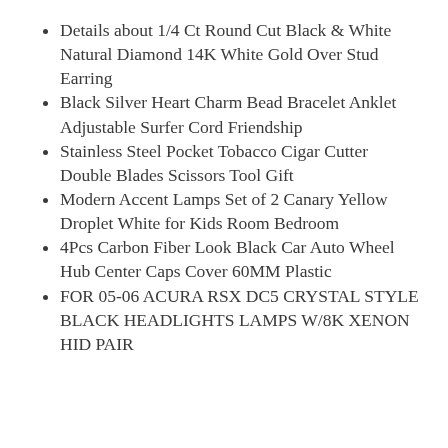Details about  1/4 Ct Round Cut Black & White Natural Diamond 14K White Gold Over Stud Earring
Black Silver Heart Charm Bead Bracelet Anklet Adjustable Surfer Cord Friendship
Stainless Steel Pocket Tobacco Cigar Cutter Double Blades Scissors Tool Gift
Modern Accent Lamps Set of 2 Canary Yellow Droplet White for Kids Room Bedroom
4Pcs Carbon Fiber Look Black Car Auto Wheel Hub Center Caps Cover 60MM Plastic
FOR 05-06 ACURA RSX DC5 CRYSTAL STYLE BLACK HEADLIGHTS LAMPS W/8K XENON HID PAIR